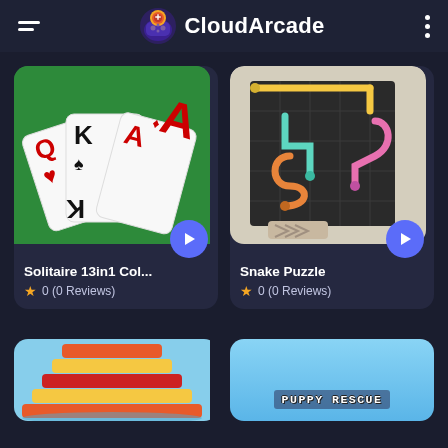CloudArcade
[Figure (screenshot): Solitaire 13in1 Col... game card with playing cards Q, K, A on green background, play button]
Solitaire 13in1 Col...
★ 0 (0 Reviews)
[Figure (screenshot): Snake Puzzle game card showing colorful snakes on dark grid background, play button]
Snake Puzzle
★ 0 (0 Reviews)
[Figure (screenshot): Bottom left game thumbnail with colorful stripes on water]
[Figure (screenshot): Bottom right Puppy Rescue game thumbnail with sky blue background]